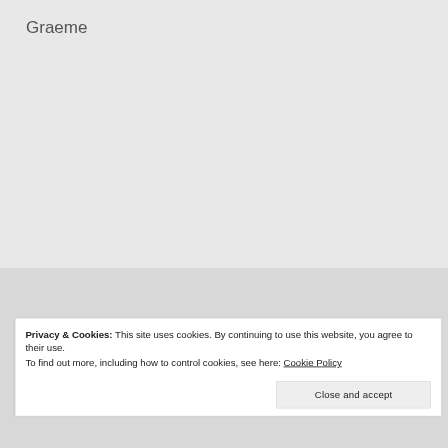Graeme
Pickerings
Privacy & Cookies: This site uses cookies. By continuing to use this website, you agree to their use.
To find out more, including how to control cookies, see here: Cookie Policy
Close and accept